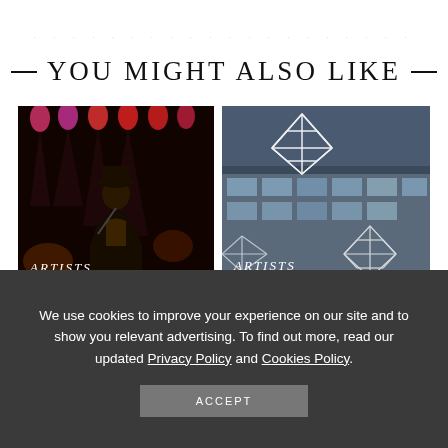YOU MIGHT ALSO LIKE
[Figure (photo): Performer on dark stage with colorful lights, labeled ARTISTS]
[Figure (photo): Diamond wire sculpture installation outside modern building at dusk, labeled ARTISTS]
The World Champion: Judah
We use cookies to improve your experience on our site and to show you relevant advertising. To find out more, read our updated Privacy Policy and Cookies Policy.
ACCEPT